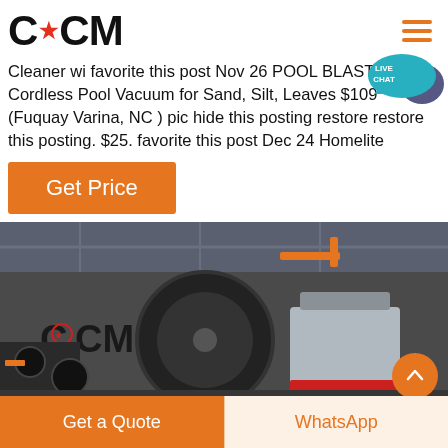CCM
Cleaner wi favorite this post Nov 26 POOL BLASTER Ca… Cordless Pool Vacuum for Sand, Silt, Leaves $109 (Fuquay Varina, NC ) pic hide this posting restore restore this posting. $25. favorite this post Dec 24 Homelite
[Figure (other): Get Price orange button]
[Figure (photo): CCM factory floor with heavy industrial grinding/crushing machinery bearing the CCM logo with star]
Get a Quote | WhatsApp